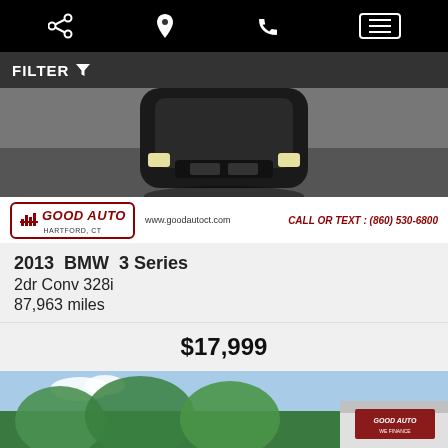Navigation bar with share, location, phone, and menu icons
FILTER
[Figure (photo): Close-up front grille of a BMW vehicle from above, with Good Auto Hartford CT dealer banner at bottom showing www.goodautoct.com and CALL OR TEXT: (860) 530-6800]
2013 BMW 3 Series
2dr Conv 328i
87,963 miles
$17,999
[Figure (photo): Red car in Good Auto dealership lot with trees visible, showing Text Us! and Chat with Us! buttons overlay, accessibility button bottom left, scroll-to-top button bottom right]